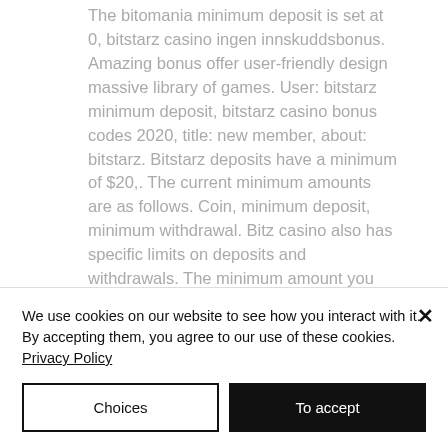The bitomania minimum deposit is set at 0, bitstarz casino ingen innskuddsbonus. Amazing bonus offer user-friendly design massive library of games. User: bitstarz minimum deposit, bitstarz casino bonus codes 2020, title: new member, about: bitstarz. Bitstarz deposits have a minimum of $20,. The current minimum amounts are as follows. Coin, minimum deposit, minimum withdrawal. Bitz casino also has specific limits on deposits and withdrawals. The minimum amount you can deposit is $20, while the maximum is $4,000. Note that the bitstarz casino minimum deposit amount is 20 eur or 0.006 btc each time, bitstarz
We use cookies on our website to see how you interact with it. By accepting them, you agree to our use of these cookies. Privacy Policy
Choices
To accept